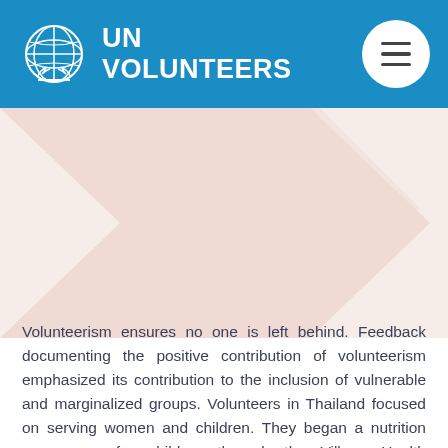[Figure (logo): UN Volunteers logo with UN emblem on blue header background and hamburger menu button]
[Figure (illustration): Light pink decorative background area with abstract angular shapes]
Volunteerism ensures no one is left behind. Feedback documenting the positive contribution of volunteerism emphasized its contribution to the inclusion of vulnerable and marginalized groups. Volunteers in Thailand focused on serving women and children. They began a nutrition programme for children through the Village Health Volunteer System. As well, volunteers implemented and